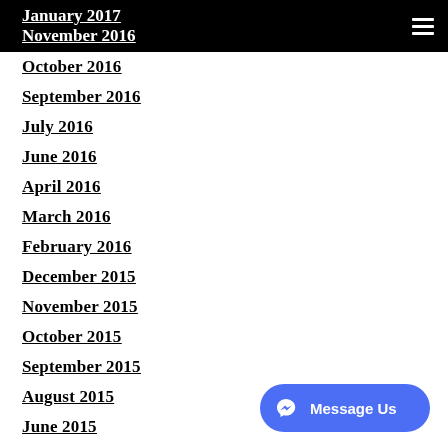January 2017 | November 2016
October 2016
September 2016
July 2016
June 2016
April 2016
March 2016
February 2016
December 2015
November 2015
October 2015
September 2015
August 2015
June 2015
May 2015
March 2015
February 2015